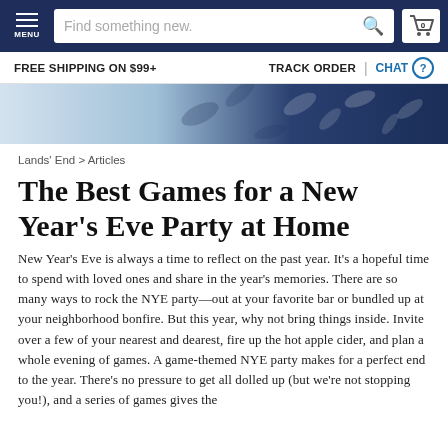MENU | Find something new. | 0
FREE SHIPPING ON $99+    TRACK ORDER  |  CHAT
[Figure (photo): Decorative banner image showing blue and white floral/leaf pattern fabric]
Lands' End > Articles
The Best Games for a New Year's Eve Party at Home
New Year's Eve is always a time to reflect on the past year. It's a hopeful time to spend with loved ones and share in the year's memories. There are so many ways to rock the NYE party—out at your favorite bar or bundled up at your neighborhood bonfire. But this year, why not bring things inside. Invite over a few of your nearest and dearest, fire up the hot apple cider, and plan a whole evening of games. A game-themed NYE party makes for a perfect end to the year. There's no pressure to get all dolled up (but we're not stopping you!), and a series of games gives the